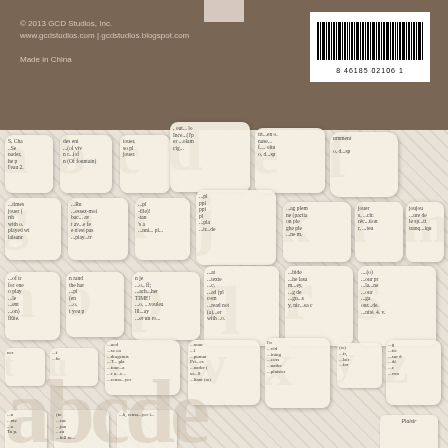© 2013 GCD Studios, Inc.
www.gcdstudios.com | gcdstudios.blogspot.com

Made in China
[Figure (other): Barcode: 8 46185 02106 1 on white background in top right of brown header]
[Figure (other): Product packaging back showing rows of decorative alphabet letter stickers with vintage newspaper/dictionary text print on cream/ivory colored letter-shaped pieces, arranged in a grid on a diagonal striped background. Letters visible include a, b, c, d, e, f, g, h, i, j, k, l, m, n, o, p, q, r, s, t, u, v, w, x, y, z and punctuation. Faded oversized letters appear at the bottom for decorative effect.]